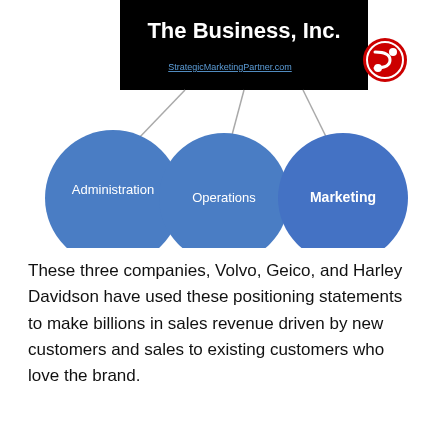[Figure (organizational-chart): Organizational chart showing 'The Business, Inc.' at the top (black banner with StrategicMarketingPartner.com URL and red/white logo), with three blue circles below connected by lines: Administration (left), Operations (center), Marketing (right).]
These three companies, Volvo, Geico, and Harley Davidson have used these positioning statements to make billions in sales revenue driven by new customers and sales to existing customers who love the brand.